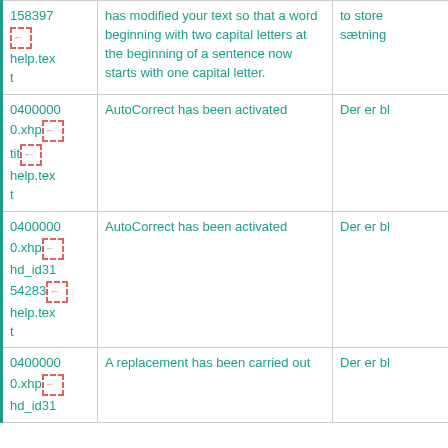| ID/File | English Text | Translation |
| --- | --- | --- |
| 158397
[icon]
help.text | has modified your text so that a word beginning with two capital letters at the beginning of a sentence now starts with one capital letter. | to store
sætning |
| 04000000.xhp
[icon]
tit[icon]
help.text | AutoCorrect has been activated | Der er bl |
| 04000000.xhp
[icon]
hd_id31
54283[icon]
help.text | AutoCorrect has been activated | Der er bl |
| 04000000.xhp
[icon]
hd_id31 | A replacement has been carried out | Der er bl |